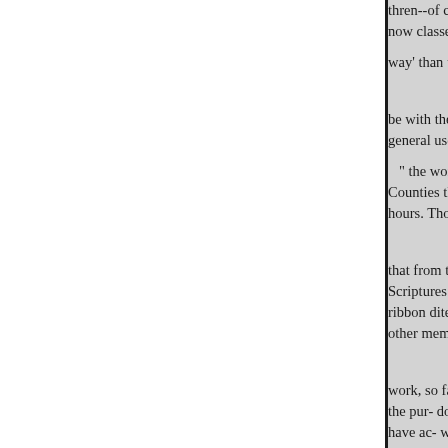thren--of communicating scriptu now classes, is, in my humble op way' than the method of teaching
be with the oracles of God, and d general use, is not entitled even t
" the words which man's wisd Counties thing needed in order to hours. Thomas
that from their childhood, they b Scriptures in those words which ribbon dited, and which are able other mem
work, so far as it can be carried d the pur- does not surely belong e have ac- work can be inore appr purposes, espe- babes, the babes women, especially pious matron Gospel, and uninformed in the